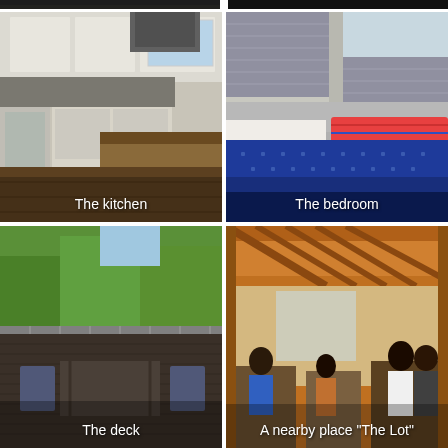[Figure (photo): Top strip showing cropped tops of photos — kitchen on left, bedroom on right]
[Figure (photo): Interior photo of a modern kitchen with white cabinets, stainless steel appliances, dark wood island countertop, and hardwood floors. Caption reads 'The kitchen'.]
The kitchen
[Figure (photo): Interior photo of a bedroom with grey roller blinds on windows, blue dotted bedspread, and colorful striped pillows. Caption reads 'The bedroom'.]
The bedroom
[Figure (photo): Outdoor deck with patio furniture, table and chairs, surrounded by trees and greenery. Caption reads 'The deck'.]
The deck
[Figure (photo): Interior of a casual restaurant or bar called 'The Lot' with wooden beams, people sitting at tables. Caption reads 'A nearby place "The Lot"'.]
A nearby place "The Lot"